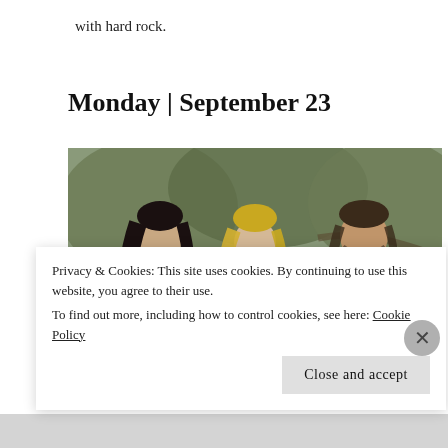with hard rock.
Monday | September 23
[Figure (photo): Three band members standing in a wooded outdoor setting. On the left, a person with long dark hair wearing a black jacket. In the center, a woman with long blonde hair wearing a denim jacket over a black t-shirt. On the right, a man with long hair wearing a black t-shirt.]
Privacy & Cookies: This site uses cookies. By continuing to use this website, you agree to their use.
To find out more, including how to control cookies, see here: Cookie Policy
Close and accept